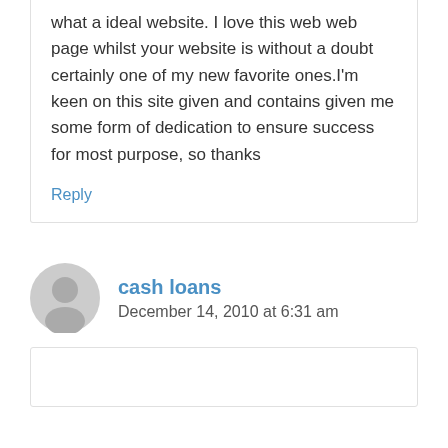what a ideal website. I love this web web page whilst your website is without a doubt certainly one of my new favorite ones.I'm keen on this site given and contains given me some form of dedication to ensure success for most purpose, so thanks
Reply
cash loans
December 14, 2010 at 6:31 am